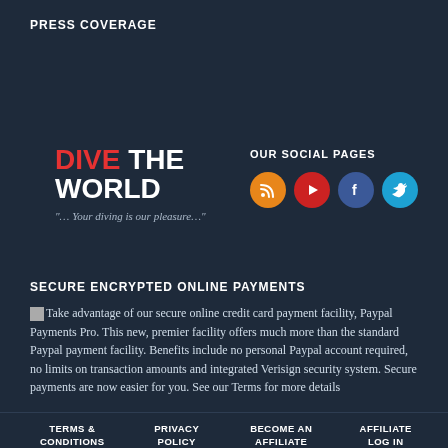PRESS COVERAGE
[Figure (logo): Dive The World logo with red DIVE and white THE WORLD text, tagline: "…Your diving is our pleasure…"]
OUR SOCIAL PAGES
[Figure (infographic): Social media icons: RSS (orange), YouTube (red), Facebook (blue), Twitter (light blue)]
SECURE ENCRYPTED ONLINE PAYMENTS
Take advantage of our secure online credit card payment facility, Paypal Payments Pro. This new, premier facility offers much more than the standard Paypal payment facility. Benefits include no personal Paypal account required, no limits on transaction amounts and integrated Verisign security system. Secure payments are now easier for you. See our Terms for more details
TERMS & CONDITIONS   PRIVACY POLICY   BECOME AN AFFILIATE   AFFILIATE LOG IN